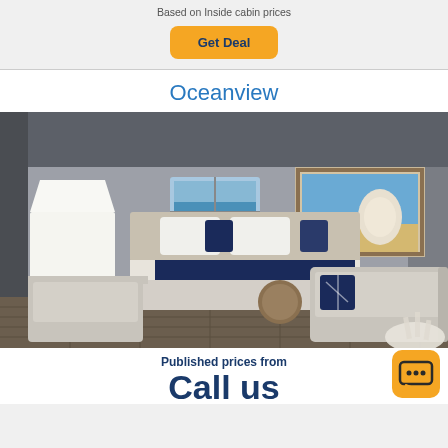Based on Inside cabin prices
Get Deal
Oceanview
[Figure (photo): Oceanview cruise ship cabin interior with a large bed with navy blue pillows and throw, a white table lamp on the left, a grey sofa on the right, a porthole window with ocean view, and a framed seashell artwork on the wall.]
Published prices from
Call us